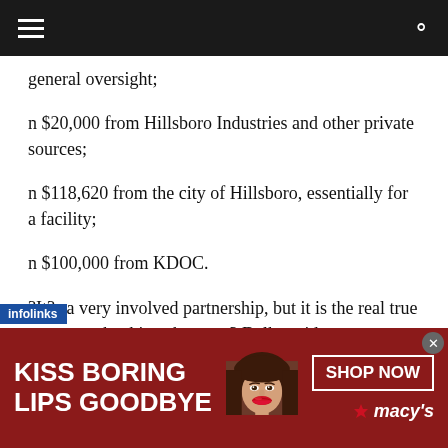general oversight;
n $20,000 from Hillsboro Industries and other private sources;
n $118,620 from the city of Hillsboro, essentially for a facility;
n $100,000 from KDOC.
?It?s a very involved partnership, but it is the real true way to make things happen,? Dalke said.
[Figure (screenshot): Advertisement banner for Macy's: 'KISS BORING LIPS GOODBYE' with a woman's face and red lips, with a 'SHOP NOW' button and Macy's star logo]